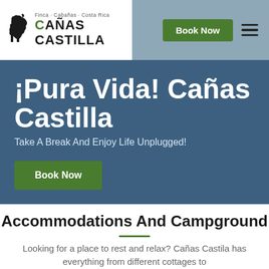[Figure (logo): Cañas Castilla logo with horse silhouette and text 'Finca - Cabañas - Costa Rica / CAÑAS CASTILLA']
Book Now
¡Pura Vida! Cañas Castilla
Take A Break And Enjoy Life Unplugged!
Book Now
Accommodations And Campground
Looking for a place to rest and relax? Cañas Castila has everything from different cottages to